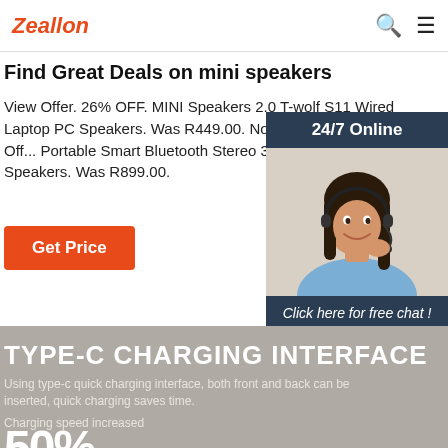Zeallon
Find Great Deals on mini speakers
View Offer. 26% OFF. MINI Speakers 2.0 T-wolf S11 Wired Laptop PC Speakers. Was R449.00. Now R329.00. View Off... Portable Smart Bluetooth Stereo 360 Degree LED Speakers. Was R899.00.
[Figure (photo): Orange 'Get Price' button]
[Figure (photo): Customer service chat popup showing a woman with headset, '24/7 Online' header, 'Click here for free chat!' text, and orange QUOTATION button]
TYPE-C CHARGING INTERFACE
Using type-c quick charging interface, both front and back can be inserted, quick charging saves time.
Charging speed increased
50%